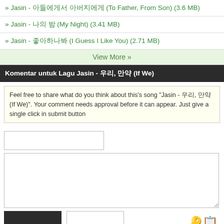» Jasin - 아들에게서 아버지에게 (To Father, From Son) (3.6 MB)
» Jasin - 나의 밤 (My Night) (3.41 MB)
» Jasin - 좋아하나봐 (I Guess I Like You) (2.71 MB)
View More »
Komentar untuk Lagu Jasin - 우리, 만약 (If We)
Feel free to share what do you think about this's song "Jasin - 우리, 만약 (If We)". Your comment needs approval before it can appear. Just give a single click in submit button